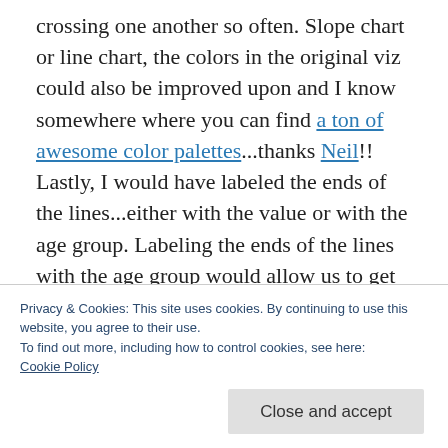crossing one another so often. Slope chart or line chart, the colors in the original viz could also be improved upon and I know somewhere where you can find a ton of awesome color palettes...thanks Neil!! Lastly, I would have labeled the ends of the lines...either with the value or with the age group. Labeling the ends of the lines with the age group would allow us to get rid of the color legend that is forcing us to look back and forth between the legend and the graph, to see which color represents which
Privacy & Cookies: This site uses cookies. By continuing to use this website, you agree to their use.
To find out more, including how to control cookies, see here: Cookie Policy